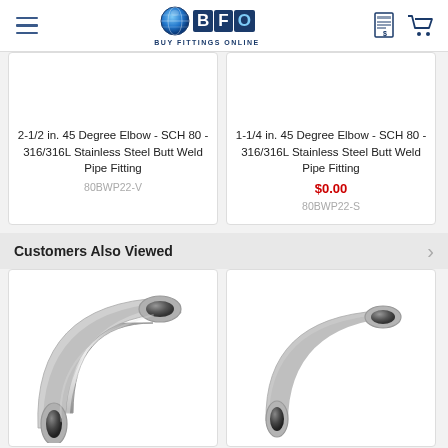BFO - BUY FITTINGS ONLINE
2-1/2 in. 45 Degree Elbow - SCH 80 - 316/316L Stainless Steel Butt Weld Pipe Fitting
80BWP22-V
1-1/4 in. 45 Degree Elbow - SCH 80 - 316/316L Stainless Steel Butt Weld Pipe Fitting
$0.00
80BWP22-S
Customers Also Viewed
[Figure (photo): Stainless steel 90-degree elbow pipe fitting, polished silver metallic surface, viewed from front-left angle]
[Figure (photo): Stainless steel 90-degree elbow pipe fitting, polished silver metallic surface, viewed from front-left angle, slightly smaller]